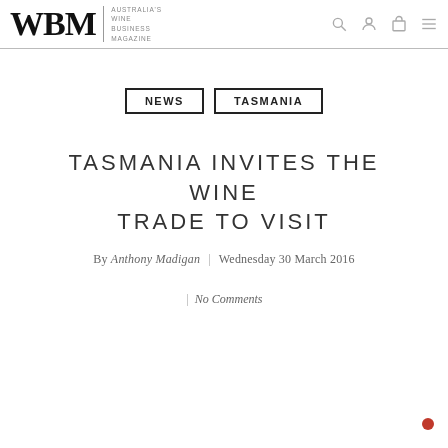WBM | Australia's Wine Business Magazine
NEWS | TASMANIA
TASMANIA INVITES THE WINE TRADE TO VISIT
By Anthony Madigan | Wednesday 30 March 2016
| No Comments